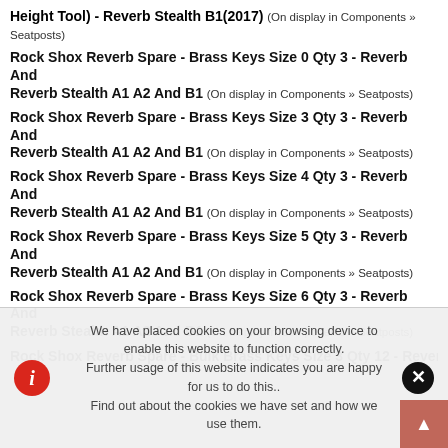Height Tool) - Reverb Stealth B1(2017) (On display in Components » Seatposts)
Rock Shox Reverb Spare - Brass Keys Size 0 Qty 3 - Reverb And Reverb Stealth A1 A2 And B1 (On display in Components » Seatposts)
Rock Shox Reverb Spare - Brass Keys Size 3 Qty 3 - Reverb And Reverb Stealth A1 A2 And B1 (On display in Components » Seatposts)
Rock Shox Reverb Spare - Brass Keys Size 4 Qty 3 - Reverb And Reverb Stealth A1 A2 And B1 (On display in Components » Seatposts)
Rock Shox Reverb Spare - Brass Keys Size 5 Qty 3 - Reverb And Reverb Stealth A1 A2 And B1 (On display in Components » Seatposts)
Rock Shox Reverb Spare - Brass Keys Size 6 Qty 3 - Reverb And Reverb Stealth A1 A2 And B1 (On display in Components » Seatposts)
Rock Shox Reverb Spare - Bulk Brass Keys Size 3 Qty 12 - Reverb
We have placed cookies on your browsing device to enable this website to function correctly. Further usage of this website indicates you are happy for us to do this.. Find out about the cookies we have set and how we use them.